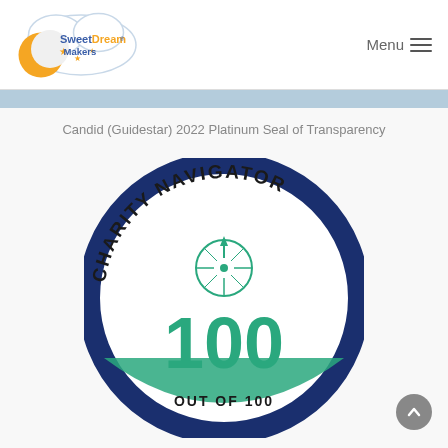Sweet Dream Makers | Menu
Candid (Guidestar) 2022 Platinum Seal of Transparency
[Figure (logo): Charity Navigator 100 Out of 100 badge — circular badge with dark navy blue border, compass rose icon in teal/green, large '100' in teal, text reading 'CHARITY NAVIGATOR' curved along the top and 'OUT OF 100' at the bottom.]